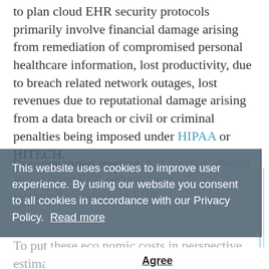to plan cloud EHR security protocols primarily involve financial damage arising from remediation of compromised personal healthcare information, lost productivity, due to breach related network outages, lost revenues due to reputational damage arising from a data breach or civil or criminal penalties being imposed under HIPAA or HITECH.
This website uses cookies to improve user experience. By using our website you consent to all cookies in accordance with our Privacy Policy. Read more
Recommended reading: find vendors offering strong cloud EHR security tools
To put these economic costs in perspective, estimates from the Ponemon Institute show that the direct economic costs of a data